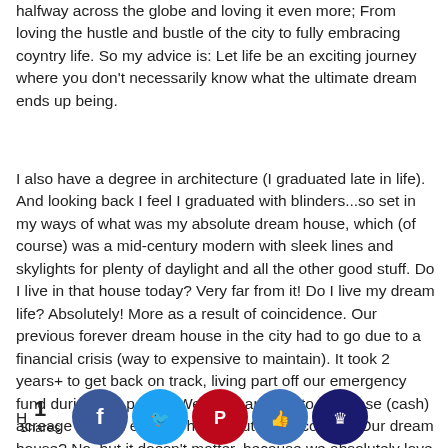halfway across the globe and loving it even more; From loving the hustle and bustle of the city to fully embracing coyntry life. So my advice is: Let life be an exciting journey where you don't necessarily know what the ultimate dream ends up being.
I also have a degree in architecture (I graduated late in life). And looking back I feel I graduated with blinders...so set in my ways of what was my absolute dream house, which (of course) was a mid-century modern with sleek lines and skylights for plenty of daylight and all the other good stuff. Do I live in that house today? Very far from it! Do I live my dream life? Absolutely! More as a result of coincidence. Our previous forever dream house in the city had to go due to a financial crisis (way to expensive to maintain). It took 2 years+ to get back on track, living part off our emergency fund during this period. We still managed to purchase (cash) acreage with an existing house out in the country. Our dream house? No, but it doesn't matter, because we absolutely love living here! So, again! There is no single dream solution, there are many.
H...I co...in a cult...malle... and fe... b...ns, and ...any ad...es of th... you ar...